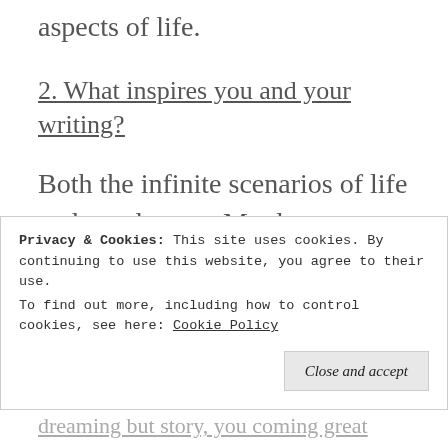aspects of life.
2. What inspires you and your writing?
Both the infinite scenarios of life and my dreams. My dreams are really vivid and have colorful characters.
3. What keeps you going when
Privacy & Cookies: This site uses cookies. By continuing to use this website, you agree to their use. To find out more, including how to control cookies, see here: Cookie Policy
Close and accept